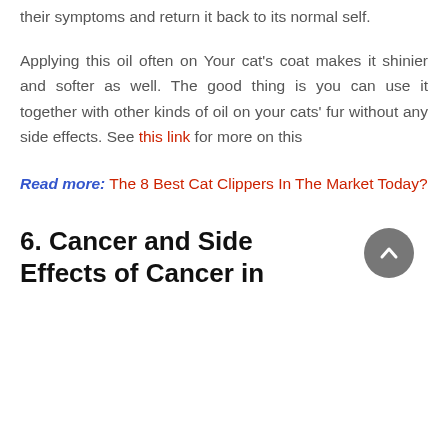their symptoms and return it back to its normal self.
Applying this oil often on Your cat's coat makes it shinier and softer as well. The good thing is you can use it together with other kinds of oil on your cats' fur without any side effects. See this link for more on this
Read more: The 8 Best Cat Clippers In The Market Today?
6. Cancer and Side Effects of Cancer in